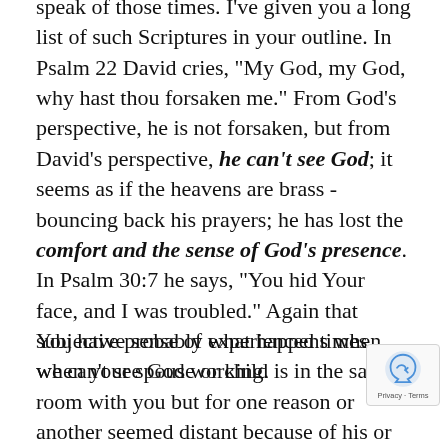speak of those times. I've given you a long list of such Scriptures in your outline. In Psalm 22 David cries, "My God, my God, why hast thou forsaken me." From God's perspective, he is not forsaken, but from David's perspective, he can't see God; it seems as if the heavens are brass - bouncing back his prayers; he has lost the comfort and the sense of God's presence. In Psalm 30:7 he says, "You hid Your face, and I was troubled." Again that subjective sense of what happens when we can't see God working.
You have probably experienced times when your spouse or child is in the same room with you but for one reason or another seemed distant because of his or her attitude. David never